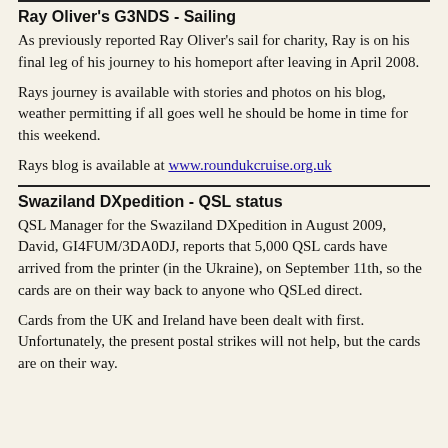Ray Oliver's G3NDS - Sailing
As previously reported Ray Oliver's sail for charity, Ray is on his final leg of his journey to his homeport after leaving in April 2008.
Rays journey is available with stories and photos on his blog, weather permitting if all goes well he should be home in time for this weekend.
Rays blog is available at www.roundukcruise.org.uk
Swaziland DXpedition - QSL status
QSL Manager for the Swaziland DXpedition in August 2009, David, GI4FUM/3DA0DJ, reports that 5,000 QSL cards have arrived from the printer (in the Ukraine), on September 11th, so the cards are on their way back to anyone who QSLed direct.
Cards from the UK and Ireland have been dealt with first. Unfortunately, the present postal strikes will not help, but the cards are on their way.